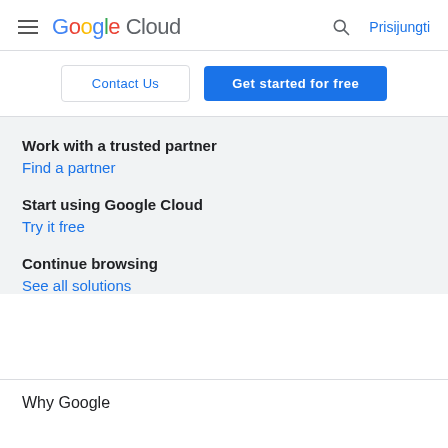Google Cloud — Prisijungti
Contact Us
Get started for free
Work with a trusted partner
Find a partner
Start using Google Cloud
Try it free
Continue browsing
See all solutions
Why Google